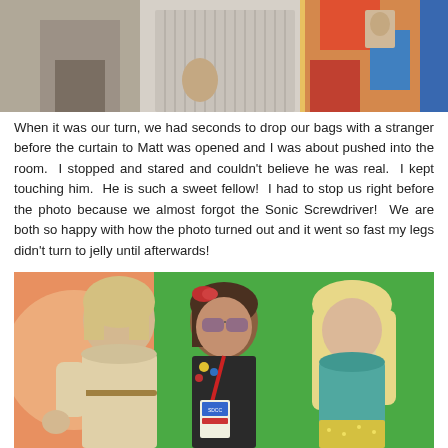[Figure (photo): Cropped photo showing lower bodies of people standing together, one in a gray suit, one in a striped shirt, one in a colorful patterned dress]
When it was our turn, we had seconds to drop our bags with a stranger before the curtain to Matt was opened and I was about pushed into the room. I stopped and stared and couldn't believe he was real. I kept touching him. He is such a sweet fellow! I had to stop us right before the photo because we almost forgot the Sonic Screwdriver! We are both so happy with how the photo turned out and it went so fast my legs didn't turn to jelly until afterwards!
[Figure (photo): Three people posing together in front of a green screen with an orange circle design on the left; left person has short blonde hair in a light medieval-style costume, center person is a brunette wearing sunglasses and a lanyard/badge, right person has long blonde wavy hair and a teal/blue outfit]